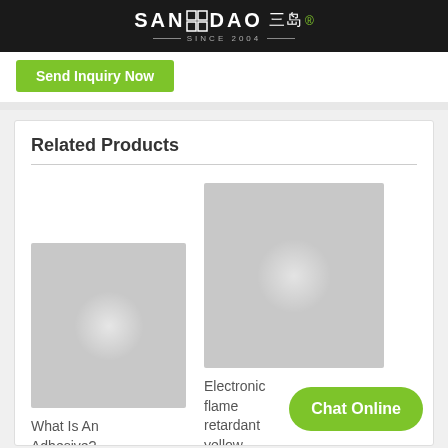SANDAO 三岛 SINCE 2004
Send Inquiry Now
Related Products
[Figure (photo): Placeholder product image for 'What Is An Adhesive?' - gray square with light center]
What Is An Adhesive?
[Figure (photo): Placeholder product image for 'Electronic flame retardant yellow' - gray square with light center]
Electronic flame retardant yellow
Chat Online